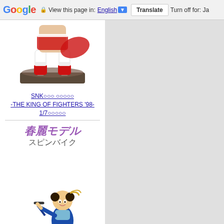Google | View this page in: English ▼ | Translate | Turn off for: Ja
[Figure (illustration): Anime figurine of a female character in red and white outfit with red boots, standing on a decorative base (King of Fighters character)]
SNK○○○ ○○○○○
-THE KING OF FIGHTERS '98-
1/7○○○○○
[Figure (illustration): Spin bike advertisement image showing: Japanese text '春麗モデル' (Chun-Li Model) in purple italic and 'スピンバイク' (Spin Bike) in dark text, with an anime illustration of Chun-Li character riding a blue spin/exercise bike]
STEADY ○○○○○○○
[Figure (logo): CAPCOM logo in yellow/gold italic bold text with registered trademark symbol]